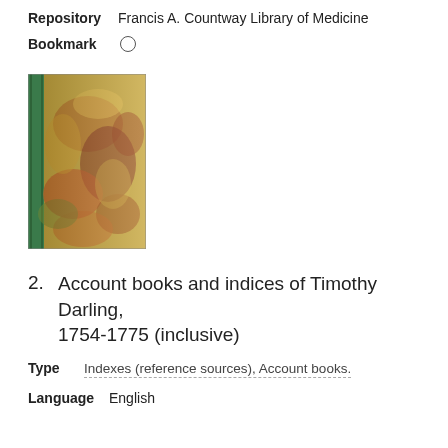Repository   Francis A. Countway Library of Medicine
Bookmark  ○
[Figure (photo): A tall narrow book with green spine and decorative marbled cover in red, gold, and green tones.]
2.  Account books and indices of Timothy Darling, 1754-1775 (inclusive)
Type   Indexes (reference sources), Account books.
Language   English